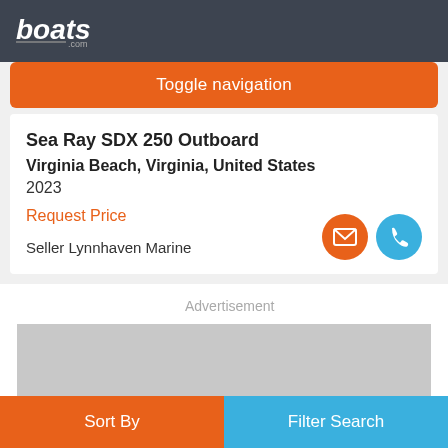boats.com
Toggle navigation
Sea Ray SDX 250 Outboard
Virginia Beach, Virginia, United States
2023
Request Price
Seller Lynnhaven Marine
Advertisement
[Figure (other): Gray advertisement placeholder rectangle]
Sort By | Filter Search